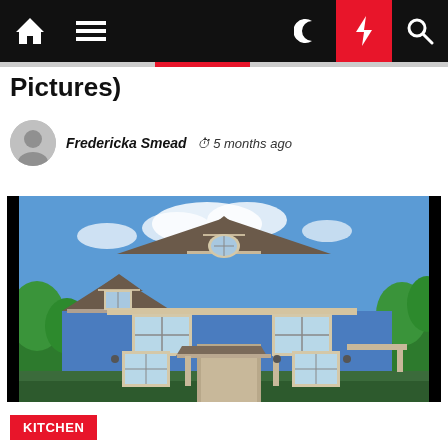Navigation bar with home, menu, moon, bolt, and search icons
Pictures)
Fredericka Smead  5 months ago
[Figure (photo): Exterior photo of a two-story blue house with triangular dormers, white-trimmed windows, a front door with a canopy, flanked by trees, under a blue sky with clouds.]
KITCHEN